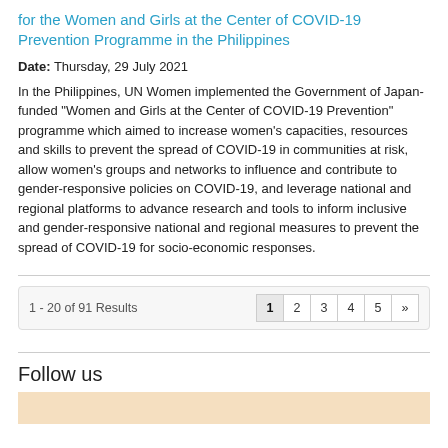for the Women and Girls at the Center of COVID-19 Prevention Programme in the Philippines
Date: Thursday, 29 July 2021
In the Philippines, UN Women implemented the Government of Japan-funded "Women and Girls at the Center of COVID-19 Prevention" programme which aimed to increase women's capacities, resources and skills to prevent the spread of COVID-19 in communities at risk, allow women's groups and networks to influence and contribute to gender-responsive policies on COVID-19, and leverage national and regional platforms to advance research and tools to inform inclusive and gender-responsive national and regional measures to prevent the spread of COVID-19 for socio-economic responses.
1 - 20 of 91 Results   1 2 3 4 5 »
Follow us